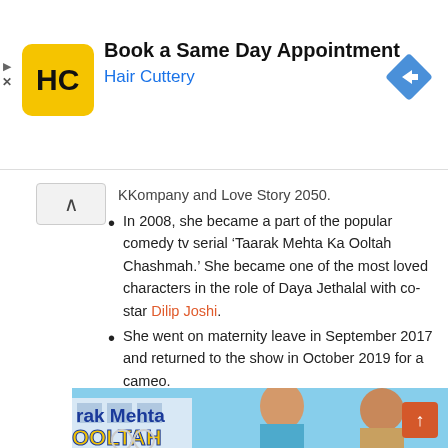[Figure (infographic): Hair Cuttery advertisement banner: HC logo in yellow rounded square, text 'Book a Same Day Appointment' and 'Hair Cuttery' in blue, blue diamond navigation icon on right]
KKompany and Love Story 2050.
In 2008, she became a part of the popular comedy tv serial 'Taarak Mehta Ka Ooltah Chashmah.' She became one of the most loved characters in the role of Daya Jethalal with co-star Dilip Joshi.
She went on maternity leave in September 2017 and returned to the show in October 2019 for a cameo.
[Figure (photo): Promotional image of Taarak Mehta Ka Ooltah Chashmah TV show featuring two actors (actress playing Daya and actor playing Jethalal) smiling, with show title text visible: 'rak Mehta' and 'OOLTAH' in yellow letters on blue background]